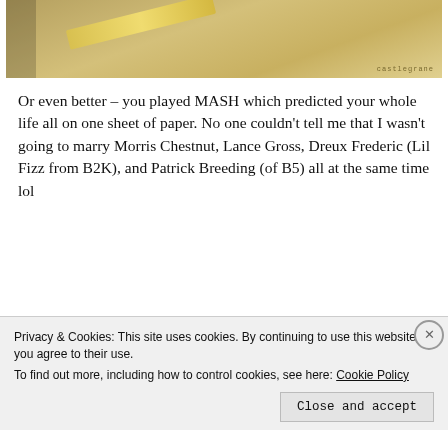[Figure (photo): Partial photo showing a yellow pencil or similar object on a beige/tan background, with watermark text 'castlegrane' in lower right corner.]
Or even better – you played MASH which predicted your whole life all on one sheet of paper. No one couldn't tell me that I wasn't going to marry Morris Chestnut, Lance Gross, Dreux Frederic (Lil Fizz from B2K), and Patrick Breeding (of B5) all at the same time lol
[Figure (photo): Image showing a MASH game paper with '1997 edition' text, beside a photo of a red and grey book or journal with a circular logo/sticker.]
Privacy & Cookies: This site uses cookies. By continuing to use this website, you agree to their use.
To find out more, including how to control cookies, see here: Cookie Policy
Close and accept